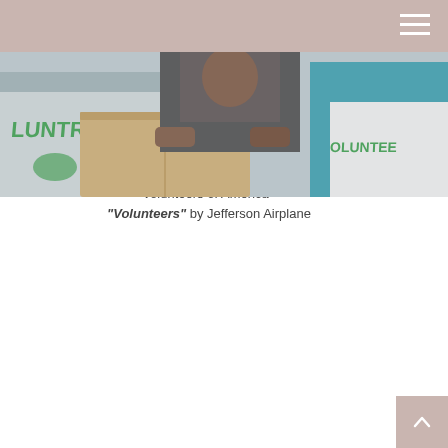[Figure (photo): Volunteers in white t-shirts carrying cardboard boxes, with 'VOLUNTEER' text visible on their shirts.]
RETIREMENT
READ TIME: 3 MIN
VOLUNTEERING IN RETIREMENT
“This generation got no destination to hold... We are volunteers of America” “Volunteers” by Jefferson Airplane